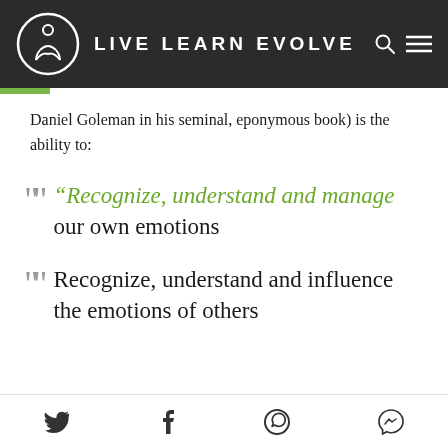LIVE LEARN EVOLVE
Daniel Goleman in his seminal, eponymous book) is the ability to:
“Recognize, understand and manage our own emotions
Recognize, understand and influence the emotions of others
[social share icons: Twitter, Facebook, WhatsApp, Messenger]